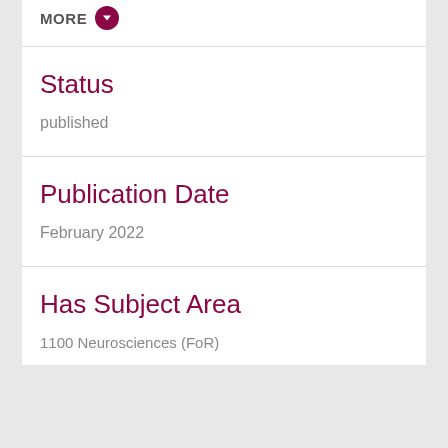MORE
Status
published
Publication Date
February 2022
Has Subject Area
1100 Neurosciences (FoR)